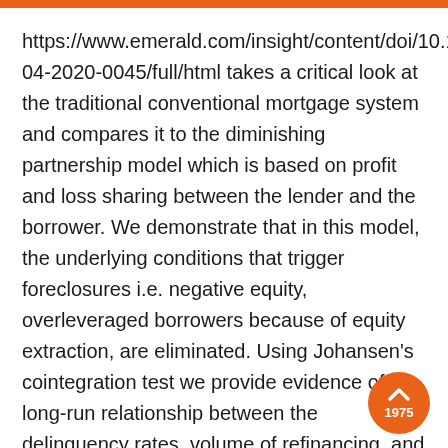https://www.emerald.com/insight/content/doi/10.1108/IJHMA-04-2020-0045/full/html takes a critical look at the traditional conventional mortgage system and compares it to the diminishing partnership model which is based on profit and loss sharing between the lender and the borrower. We demonstrate that in this model, the underlying conditions that trigger foreclosures i.e. negative equity, overleveraged borrowers because of equity extraction, are eliminated. Using Johansen's cointegration test we provide evidence of a long-run relationship between the delinquency rates, volume of refinancing, and the change in US HPI during the period 1994 - 2019. Also, a Granger causality test concludes that the volume of refinancing, and the change in the HPI Granger-cause default rates. Additionally, we demonstrate that any 11-year or longer period during 1975 to 2019, has always led to capital gains despite the 2008